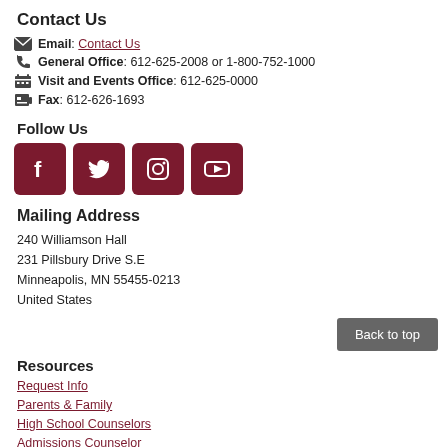Contact Us
Email: Contact Us
General Office: 612-625-2008 or 1-800-752-1000
Visit and Events Office: 612-625-0000
Fax: 612-626-1693
Follow Us
[Figure (illustration): Social media icons: Facebook, Twitter, Instagram, YouTube]
Mailing Address
240 Williamson Hall
231 Pillsbury Drive S.E
Minneapolis, MN 55455-0213
United States
Back to top
Resources
Request Info
Parents & Family
High School Counselors
Admissions Counselor